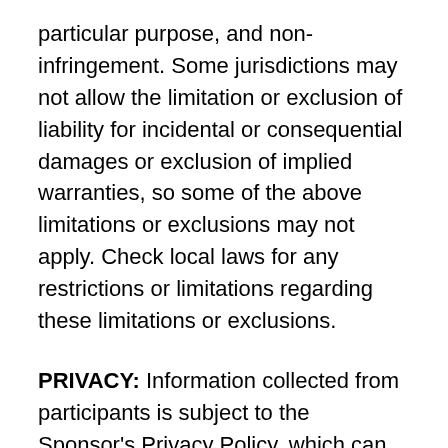particular purpose, and non-infringement. Some jurisdictions may not allow the limitation or exclusion of liability for incidental or consequential damages or exclusion of implied warranties, so some of the above limitations or exclusions may not apply. Check local laws for any restrictions or limitations regarding these limitations or exclusions.
PRIVACY: Information collected from participants is subject to the Sponsor's Privacy Policy, which can be found at http://www.costar.com/about/privacy-policy. Sponsor and Sponsor's agents, affiliates, subsidiaries, representatives or service providers may use participants' and/or referrals' personal information submitted with entry for purposes of